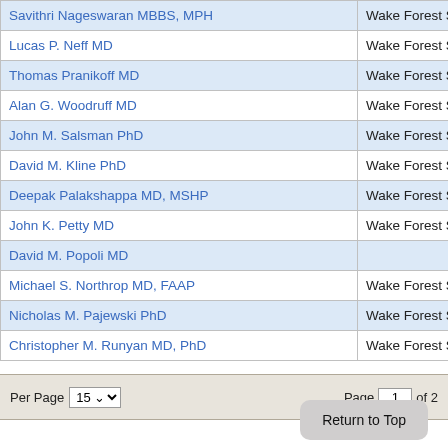| Name | Institution |
| --- | --- |
| Savithri Nageswaran MBBS, MPH | Wake Forest School of Medi... |
| Lucas P. Neff MD | Wake Forest School of Medi... |
| Thomas Pranikoff MD | Wake Forest School of Medi... |
| Alan G. Woodruff MD | Wake Forest School of Medi... |
| John M. Salsman PhD | Wake Forest School of Medi... |
| David M. Kline PhD | Wake Forest School of Medi... |
| Deepak Palakshappa MD, MSHP | Wake Forest School of Medi... |
| John K. Petty MD | Wake Forest School of Medi... |
| David M. Popoli MD |  |
| Michael S. Northrop MD, FAAP | Wake Forest School of Medi... |
| Nicholas M. Pajewski PhD | Wake Forest School of Medi... |
| Christopher M. Runyan MD, PhD | Wake Forest School of Medi... |
Per Page 15 | Page 1 of 2